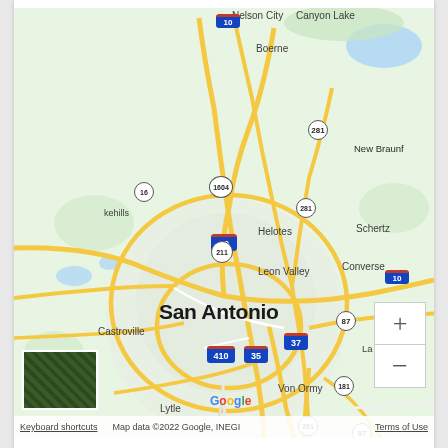[Figure (map): Google Maps screenshot showing San Antonio, Texas and surrounding areas including Nelson City, Canyon Lake, Boerne, Bulverde, New Braunfels, Helotes, Schertz, Leon Valley, Converse, Castroville, Von Ormy, Lytle, Devine, Poteet, Pleasanton. Major highways shown: I-10, I-35, I-37, I-410, US-281, US-87, US-181, US-97, TX-16. Map includes satellite thumbnail, zoom controls (+/-), and Google branding.]
Keyboard shortcuts  Map data ©2022 Google, INEGI  Terms of Use